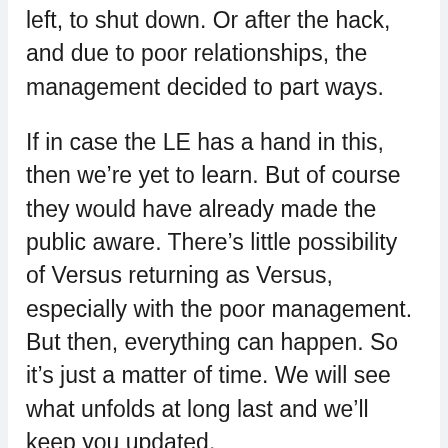left, to shut down. Or after the hack, and due to poor relationships, the management decided to part ways.
If in case the LE has a hand in this, then we're yet to learn. But of course they would have already made the public aware. There's little possibility of Versus returning as Versus, especially with the poor management. But then, everything can happen. So it's just a matter of time. We will see what unfolds at long last and we'll keep you updated.